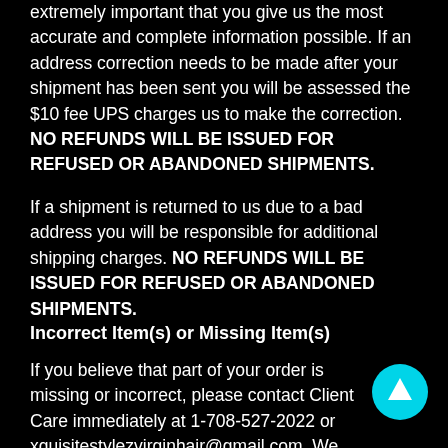extremely important that you give us the most accurate and complete information possible. If an address correction needs to be made after your shipment has been sent you will be assessed the $10 fee UPS charges us to make the correction. NO REFUNDS WILL BE ISSUED FOR REFUSED OR ABANDONED SHIPMENTS.
If a shipment is returned to us due to a bad address you will be responsible for additional shipping charges. NO REFUNDS WILL BE ISSUED FOR REFUSED OR ABANDONED SHIPMENTS.
Incorrect Item(s) or Missing Item(s)
If you believe that part of your order is missing or incorrect, please contact Client Care immediately at 1-708-527-2022 or xquisitestylezvirginhair@gmail.com. We apologize for any inconvenience.